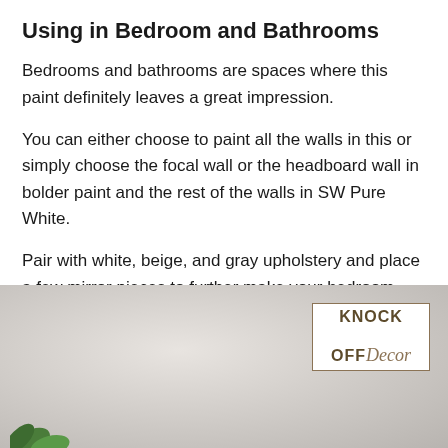Using in Bedroom and Bathrooms
Bedrooms and bathrooms are spaces where this paint definitely leaves a great impression.
You can either choose to paint all the walls in this or simply choose the focal wall or the headboard wall in bolder paint and the rest of the walls in SW Pure White.
Pair with white, beige, and gray upholstery and place a few mirror pieces to further make your bedroom look larger and brighter!
[Figure (photo): A bedroom interior photo with a light gray/beige wall background and green plant leaves visible at bottom left. A 'Knock Off Decor' logo watermark appears in the top right corner of the image.]